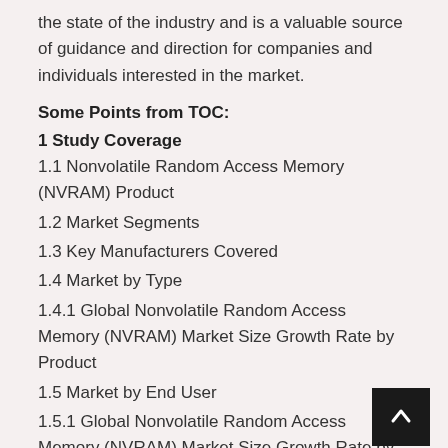the state of the industry and is a valuable source of guidance and direction for companies and individuals interested in the market.
Some Points from TOC:
1 Study Coverage
1.1 Nonvolatile Random Access Memory (NVRAM) Product
1.2 Market Segments
1.3 Key Manufacturers Covered
1.4 Market by Type
1.4.1 Global Nonvolatile Random Access Memory (NVRAM) Market Size Growth Rate by Product
1.5 Market by End User
1.5.1 Global Nonvolatile Random Access Memory (NVRAM) Market Size Growth Rate by End User
1.6 Study Objectives